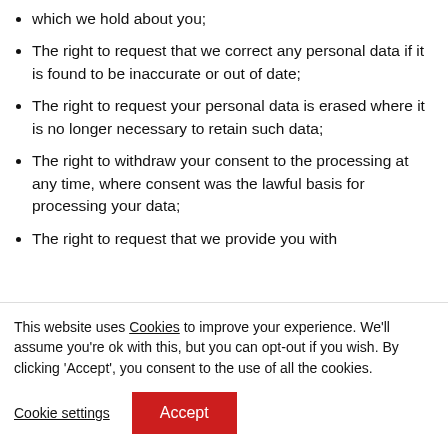which we hold about you;
The right to request that we correct any personal data if it is found to be inaccurate or out of date;
The right to request your personal data is erased where it is no longer necessary to retain such data;
The right to withdraw your consent to the processing at any time, where consent was the lawful basis for processing your data;
The right to request that we provide you with
This website uses Cookies to improve your experience. We'll assume you're ok with this, but you can opt-out if you wish. By clicking 'Accept', you consent to the use of all the cookies.
Cookie settings | Accept